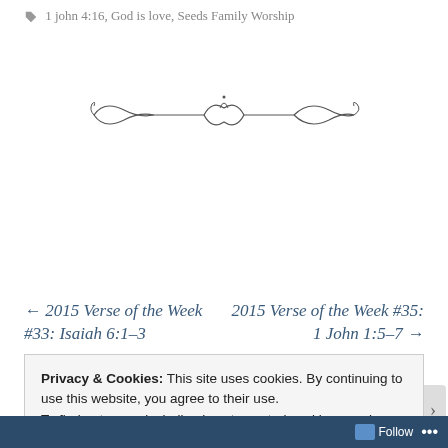1 john 4:16, God is love, Seeds Family Worship
[Figure (illustration): Decorative ornamental divider with scrollwork and flourishes]
← 2015 Verse of the Week #33: Isaiah 6:1-3
2015 Verse of the Week #35: 1 John 1:5-7 →
Privacy & Cookies: This site uses cookies. By continuing to use this website, you agree to their use. To find out more, including how to control cookies, see here: Cookie Policy
Close and accept